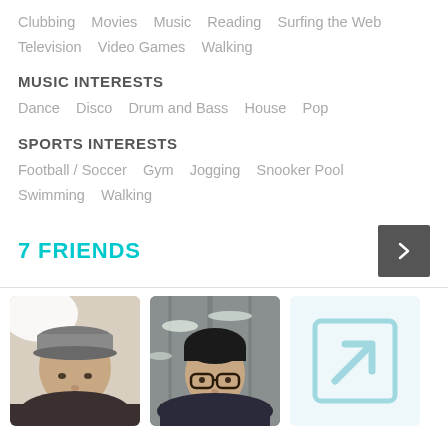Clubbing   Movies   Music   Reading   Surfing the Web
Television   Video Games   Walking
MUSIC INTERESTS
Dance   Disco   Drum and Bass   House   Pop
SPORTS INTERESTS
Football / Soccer   Gym   Jogging   Snooker Pool
Swimming   Walking
7 FRIENDS
[Figure (photo): Profile photo of a man wearing a grey knit cap indoors]
[Figure (photo): Profile photo of a man with glasses outdoors in a snowy forest]
[Figure (photo): Placeholder profile icon in light blue]